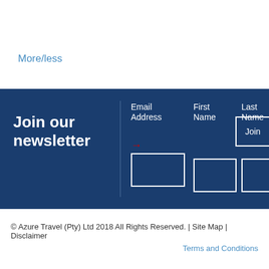More/less
Join our newsletter
Email Address
First Name
Last Name
Join
© Azure Travel (Pty) Ltd 2018 All Rights Reserved. | Site Map | Disclaimer
Terms and Conditions